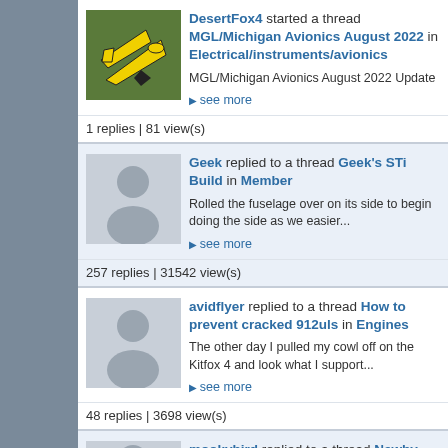DesertFox4 started a thread MGL/Michigan Avionics August 2022 in Electrical/instruments/avionics
MGL/Michigan Avionics August 2022 Update
see more
1 replies | 81 view(s)
Geek replied to a thread Geek's STi Build in Member
Rolled the fuselage over on its side to begin doing the side as we easier...
see more
257 replies | 31542 view(s)
avidflyer replied to a thread How to prevent cracked 912uls in Engines
The other day I pulled my cowl off on the Kitfox 4 and look what I support...
see more
48 replies | 3698 view(s)
mookybird replied to a thread Newby --- considering neglected model 4 looking for opinions in Kitfox